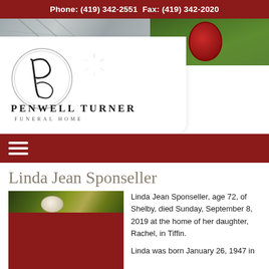Phone: (419) 342-2551  Fax: (419) 342-2020
[Figure (photo): Banner image: left half shows gray architectural structure, right half shows green foliage with a red hat. Penwell Turner Funeral Home logo below with circular P monogram and company name.]
Linda Jean Sponseller
[Figure (photo): Obituary photo placeholder showing floral arrangement at top, dark red background below.]
Linda Jean Sponseller, age 72, of Shelby, died Sunday, September 8, 2019 at the home of her daughter, Rachel, in Tiffin.
Linda was born January 26, 1947 in